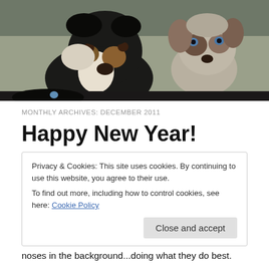[Figure (photo): Two dogs (Australian Shepherds) looking at the camera against a rocky/dirt background. A larger adult dog on the left and a smaller puppy on the right with blue eyes.]
MONTHLY ARCHIVES: DECEMBER 2011
Happy New Year!
Privacy & Cookies: This site uses cookies. By continuing to use this website, you agree to their use.
To find out more, including how to control cookies, see here: Cookie Policy
noses in the background...doing what they do best.